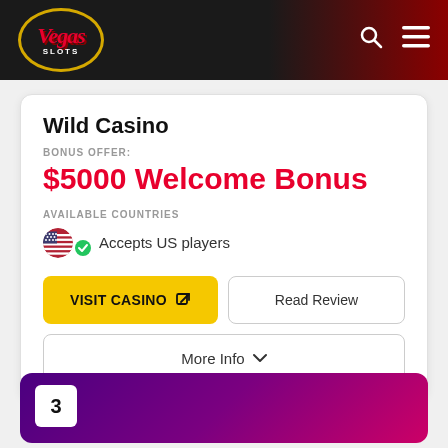[Figure (logo): Vegas Slots logo in oval gold border with red script text on dark header with gradient to dark red. Search and hamburger menu icons on right.]
Wild Casino
BONUS OFFER:
$5000 Welcome Bonus
AVAILABLE COUNTRIES
Accepts US players
VISIT CASINO
Read Review
More Info
3